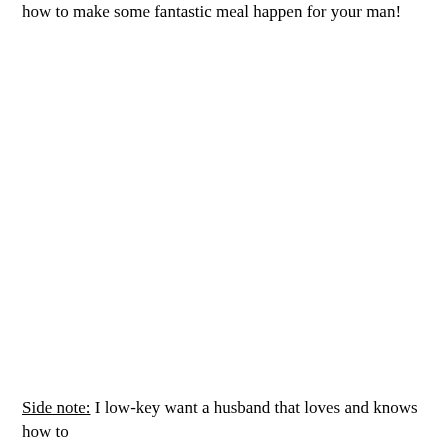how to make some fantastic meal happen for your man!
Side note: I low-key want a husband that loves and knows how to